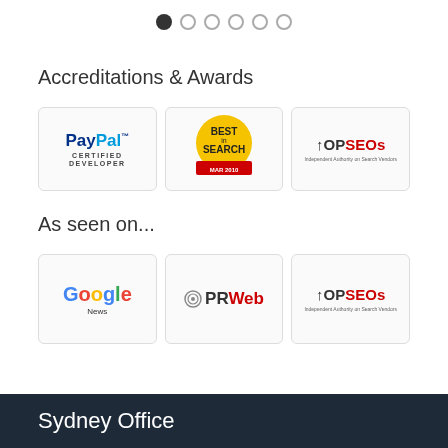[Figure (other): Pagination dots — one filled dot followed by five empty dots]
Accreditations & Awards
[Figure (other): Three logo boxes: PayPal Certified Developer, Best in Search MAR 2010 badge, topSEOs Independent Authority on Search Vendors]
As seen on...
[Figure (other): Three logo boxes: Google News, PRWeb, topSEOs Independent Authority on Search Vendors]
Sydney Office